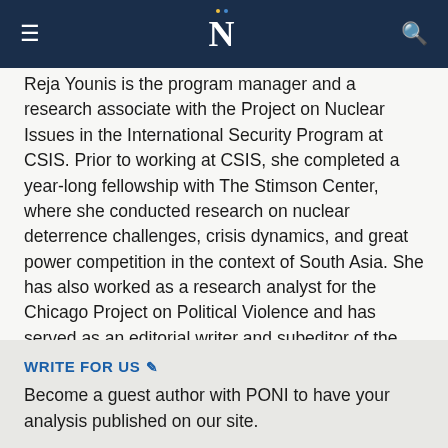N
Reja Younis is the program manager and a research associate with the Project on Nuclear Issues in the International Security Program at CSIS. Prior to working at CSIS, she completed a year-long fellowship with The Stimson Center, where she conducted research on nuclear deterrence challenges, crisis dynamics, and great power competition in the context of South Asia. She has also worked as a research analyst for the Chicago Project on Political Violence and has served as an editorial writer and subeditor of the Opinion and Editorial section for the Tribune newspaper. She holds a bachelor's degree in social sciences and liberal arts from the Institute of Business Administration Karachi and a master's degree in international relations from the University of Chicago.
WRITE FOR US
Become a guest author with PONI to have your analysis published on our site.